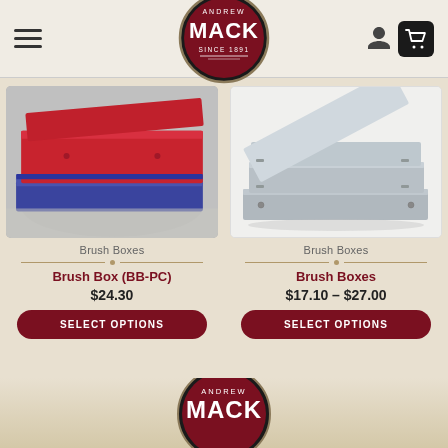Andrew Mack Since 1891 — navigation header with hamburger menu, logo, user icon, and cart icon
[Figure (photo): Red and blue plastic brush boxes stacked on a reflective surface]
Brush Boxes
[Figure (photo): Silver/metallic brush boxes with open lid on white background]
Brush Boxes
Brush Box (BB-PC)
$24.30
SELECT OPTIONS
Brush Boxes
$17.10 – $27.00
SELECT OPTIONS
Andrew Mack logo footer